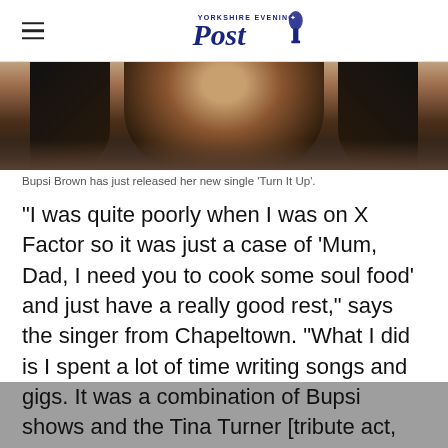Yorkshire Evening Post
[Figure (photo): Photo of Bupsi Brown, a woman with long dark hair, cropped to show upper body against a light background.]
Bupsi Brown has just released her new single 'Turn It Up'.
“I was quite poorly when I was on X Factor so it was just a case of ‘Mum, Dad, I need you to cook some soul food’ and just have a really good rest,” says the singer from Chapeltown. “What I did is I spent a lot of time writing songs and recording in the studio. I decided which lane I wanted to go down with my music. I did a lot of gigs. It was a combination of Bupsi shows and the Tina Turner [tribute act, which she had been